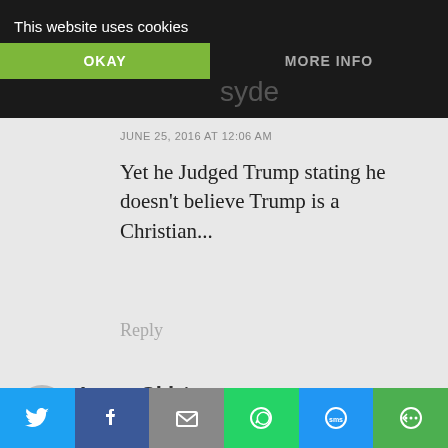This website uses cookies
OKAY
MORE INFO
JUNE 25, 2016 AT 12:06 AM
Yet he Judged Trump stating he doesn't believe Trump is a Christian...
Reply
Long-Skirts
JUNE 24, 2016 AT 2:57 PM
[Figure (infographic): Social share bar with Twitter, Facebook, Email, WhatsApp, SMS, and another share icon]